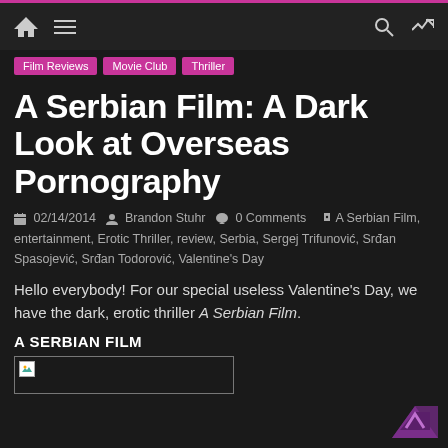Film Reviews | Movie Club | Thriller
A Serbian Film: A Dark Look at Overseas Pornography
02/14/2014  Brandon Stuhr  0 Comments  A Serbian Film, entertainment, Erotic Thriller, review, Serbia, Sergej Trifunović, Srđan Spasojević, Srđan Todorović, Valentine's Day
Hello everybody! For our special useless Valentine's Day, we have the dark, erotic thriller A Serbian Film.
A SERBIAN FILM
[Figure (photo): Broken image placeholder]